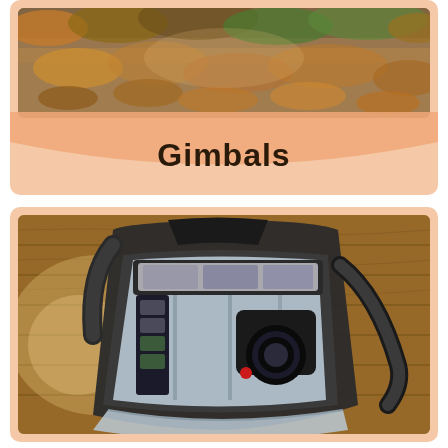[Figure (photo): Top photo showing autumn leaves and foliage background, blurred, warm tones with oranges and greens]
Gimbals
[Figure (photo): Open camera backpack laying on wooden floor surface, showing camera body, lenses, and photography equipment inside padded compartments]